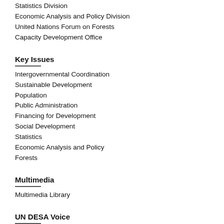Statistics Division
Economic Analysis and Policy Division
United Nations Forum on Forests
Capacity Development Office
Key Issues
Intergovernmental Coordination
Sustainable Development
Population
Public Administration
Financing for Development
Social Development
Statistics
Economic Analysis and Policy
Forests
Multimedia
Multimedia Library
UN DESA Voice
Feature
Highlights
Get involved